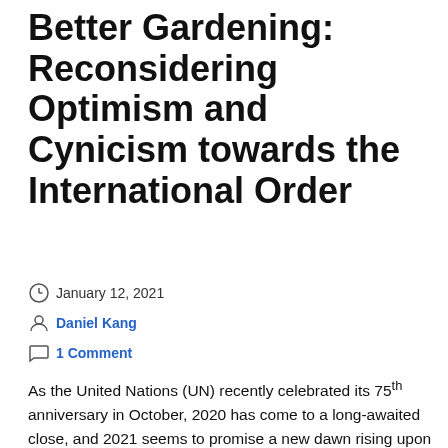Better Gardening: Reconsidering Optimism and Cynicism towards the International Order
January 12, 2021
Daniel Kang
1 Comment
As the United Nations (UN) recently celebrated its 75th anniversary in October, 2020 has come to a long-awaited close, and 2021 seems to promise a new dawn rising upon